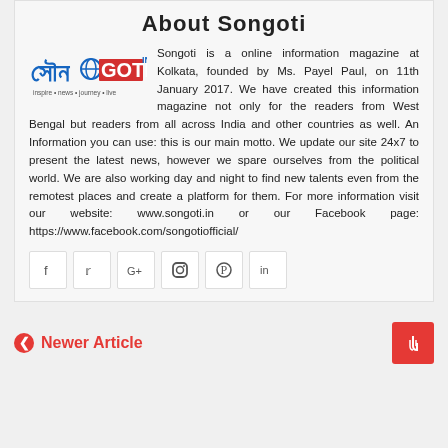About Songoti
[Figure (logo): Songoti logo with Bengali/Hindi script and globe icon]
Songoti is a online information magazine at Kolkata, founded by Ms. Payel Paul, on 11th January 2017. We have created this information magazine not only for the readers from West Bengal but readers from all across India and other countries as well. An Information you can use: this is our main motto. We update our site 24x7 to present the latest news, however we spare ourselves from the political world. We are also working day and night to find new talents even from the remotest places and create a platform for them. For more information visit our website: www.songoti.in or our Facebook page: https://www.facebook.com/songotiofficial/
[Figure (infographic): Social media icons: Facebook, Twitter, Google+, Instagram, Pinterest, LinkedIn]
Newer Article
[Figure (other): Red button with cursor/hand icon]